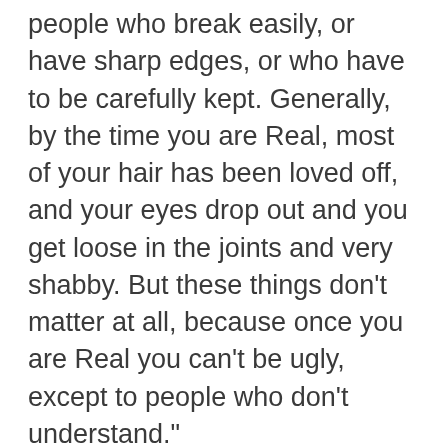people who break easily, or have sharp edges, or who have to be carefully kept. Generally, by the time you are Real, most of your hair has been loved off, and your eyes drop out and you get loose in the joints and very shabby.  But these things don't matter at all, because once you are Real you can't be ugly, except to people who don't understand."
The Velveteen Rabbit wasn't even sure what a rabbit was supposed to do.  He just knew there had to be more to life than being filled with sawdust and sitting on a shelf.